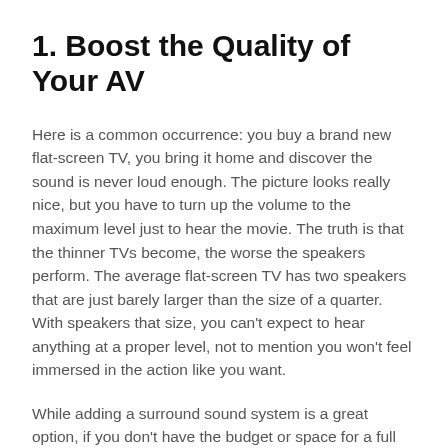1. Boost the Quality of Your AV
Here is a common occurrence: you buy a brand new flat-screen TV, you bring it home and discover the sound is never loud enough. The picture looks really nice, but you have to turn up the volume to the maximum level just to hear the movie. The truth is that the thinner TVs become, the worse the speakers perform. The average flat-screen TV has two speakers that are just barely larger than the size of a quarter. With speakers that size, you can't expect to hear anything at a proper level, not to mention you won't feel immersed in the action like you want.
While adding a surround sound system is a great option, if you don't have the budget or space for a full 5.1.2 or 7.1.2 system, a high-quality soundbar will do the trick in the